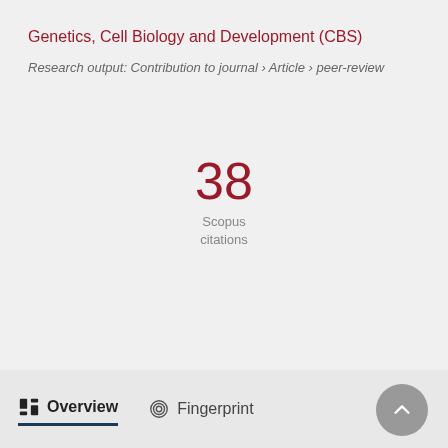Genetics, Cell Biology and Development (CBS)
Research output: Contribution to journal › Article › peer-review
38
Scopus
citations
Overview   Fingerprint